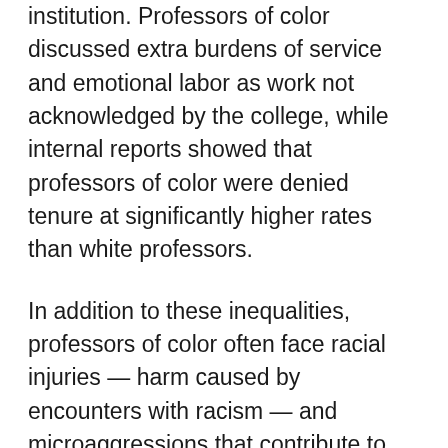institution. Professors of color discussed extra burdens of service and emotional labor as work not acknowledged by the college, while internal reports showed that professors of color were denied tenure at significantly higher rates than white professors.
In addition to these inequalities, professors of color often face racial injuries — harm caused by encounters with racism — and microaggressions that contribute to feeling unwelcome at the college. Extensive research has shown that repeated exposure to racism or discrimination results in negative mental health effects. According to a report released by the National Institute of Health in 2015, employees who face discrimination in the workplace are more likely to